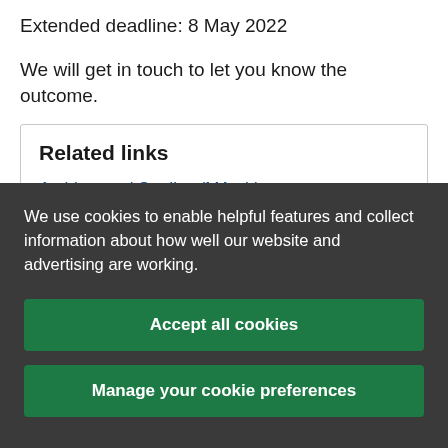Extended deadline: 8 May 2022
We will get in touch to let you know the outcome.
Related links
Architectural Studies (MArch) >
Architectural Design (MA)
We use cookies to enable helpful features and collect information about how well our website and advertising are working.
Accept all cookies
Manage your cookie preferences